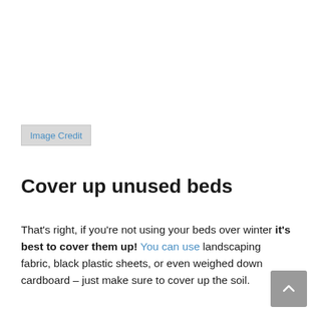[Figure (photo): White/empty image area at the top of the page]
Image Credit
Cover up unused beds
That's right, if you're not using your beds over winter it's best to cover them up! You can use landscaping fabric, black plastic sheets, or even weighed down cardboard – just make sure to cover up the soil.